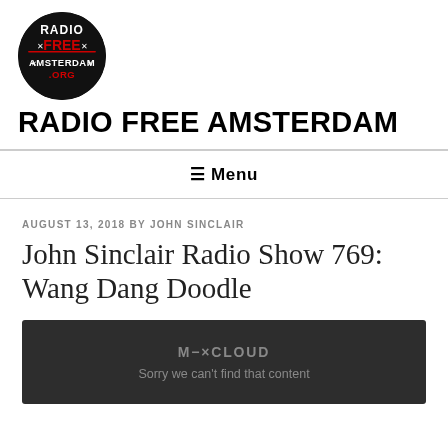[Figure (logo): Radio Free Amsterdam circular logo with black background, red stylized text reading RADIO FREE AMSTERDAM ORG with white star/cross decorations]
RADIO FREE AMSTERDAM
≡ Menu
AUGUST 13, 2018 BY JOHN SINCLAIR
John Sinclair Radio Show 769: Wang Dang Doodle
[Figure (screenshot): Mixcloud embedded player showing dark background with M-XCLOUD logo text and message: Sorry we can't find that content]